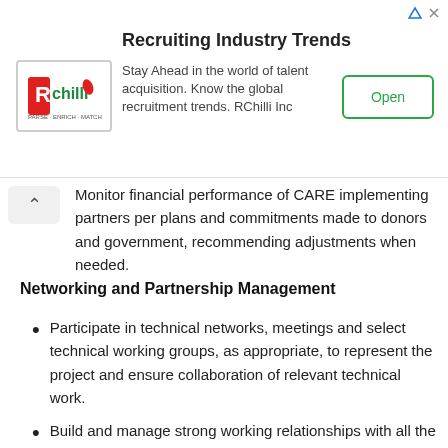[Figure (other): RChilli advertisement banner: 'Recruiting Industry Trends' with logo, body text 'Stay Ahead in the world of talent acquisition. Know the global recruitment trends. RChilli Inc', and an Open button.]
Monitor financial performance of CARE implementing partners per plans and commitments made to donors and government, recommending adjustments when needed.
Networking and Partnership Management
Participate in technical networks, meetings and select technical working groups, as appropriate, to represent the project and ensure collaboration of relevant technical work.
Build and manage strong working relationships with all the project's implementing partners and technical and resource partners to ensure the implementation plan is applied consistently and